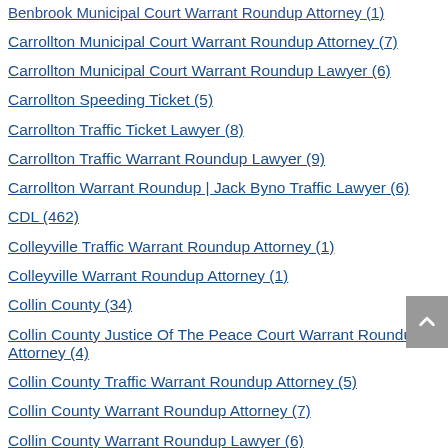Benbrook Municipal Court Warrant Roundup Attorney (1)
Carrollton Municipal Court Warrant Roundup Attorney (7)
Carrollton Municipal Court Warrant Roundup Lawyer (6)
Carrollton Speeding Ticket (5)
Carrollton Traffic Ticket Lawyer (8)
Carrollton Traffic Warrant Roundup Lawyer (9)
Carrollton Warrant Roundup | Jack Byno Traffic Lawyer (6)
CDL (462)
Colleyville Traffic Warrant Roundup Attorney (1)
Colleyville Warrant Roundup Attorney (1)
Collin County (34)
Collin County Justice Of The Peace Court Warrant Roundup Attorney (4)
Collin County Traffic Warrant Roundup Attorney (5)
Collin County Warrant Roundup Attorney (7)
Collin County Warrant Roundup Lawyer (6)